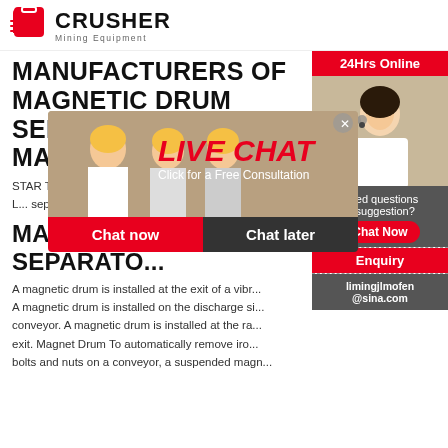[Figure (logo): Crusher Mining Equipment logo with red shopping bag icon and bold CRUSHER text]
MANUFACTURERS OF MAGNETIC DRUM SEPARATOR FOR MAGNET ...
STAR TRAC... manufactur... open magne... one plain. L... separating i... foreign iron...
[Figure (photo): Live chat popup overlay showing workers in hard hats, LIVE CHAT text in red italic, 'Click for a Free Consultation' subtitle, and Chat now / Chat later buttons]
[Figure (photo): Right sidebar with 24Hrs Online badge, customer service representative photo, Need questions & suggestion box with Chat Now button, Enquiry section, and limingjlmofen@sina.com email]
MAGNETIC SEPARATO...
A magnetic drum is installed at the exit of a vibr... A magnetic drum is installed on the discharge si... conveyor. A magnetic drum is installed at the ra... exit. Magnet Drum To automatically remove iro... bolts and nuts on a conveyor, a suspended magn...